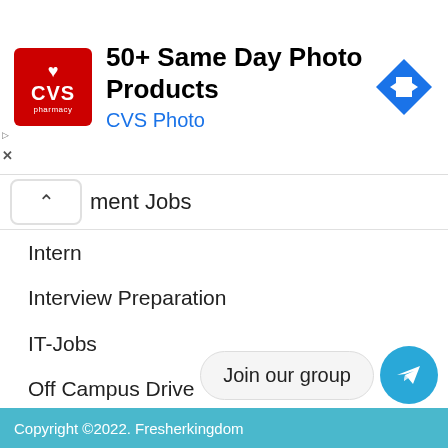[Figure (other): CVS Pharmacy advertisement banner: red CVS pharmacy logo on left, text '50+ Same Day Photo Products' and 'CVS Photo' in the middle, blue diamond arrow icon on right. Small play and X icons on left side.]
ment Jobs
Intern
Interview Preparation
IT-Jobs
Off Campus Drive
Pool Drive
Quantative Aptitude
technical jobs
Walk-In
Join our group
Copyright ©2022. Fresherkingdom